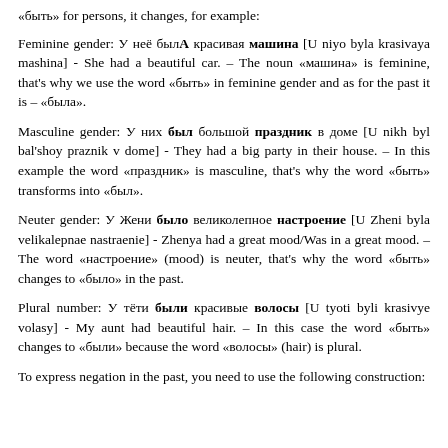«быть» for persons, it changes, for example:
Feminine gender: У неё былА красивая машина [U niyo byla krasivaya mashina] - She had a beautiful car. – The noun «машина» is feminine, that's why we use the word «быть» in feminine gender and as for the past it is – «была».
Masculine gender: У них был большой праздник в доме [U nikh byl bal'shoy praznik v dome] - They had a big party in their house. – In this example the word «праздник» is masculine, that's why the word «быть» transforms into «был».
Neuter gender: У Жени было великолепное настроение [U Zheni byla velikalepnae nastraenie] - Zhenya had a great mood/Was in a great mood. – The word «настроение» (mood) is neuter, that's why the word «быть» changes to «было» in the past.
Plural number: У тёти были красивые волосы [U tyoti byli krasivye volasy] - My aunt had beautiful hair. – In this case the word «быть» changes to «были» because the word «волосы» (hair) is plural.
To express negation in the past, you need to use the following construction: